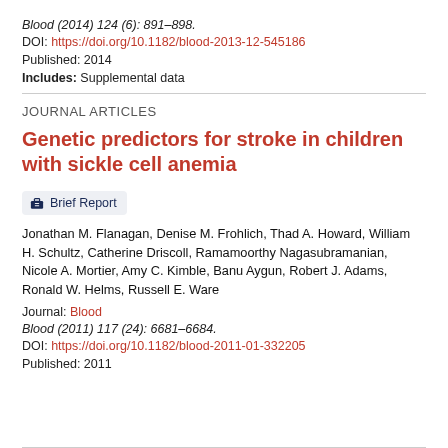Blood (2014) 124 (6): 891–898.
DOI: https://doi.org/10.1182/blood-2013-12-545186
Published: 2014
Includes: Supplemental data
JOURNAL ARTICLES
Genetic predictors for stroke in children with sickle cell anemia
Brief Report
Jonathan M. Flanagan, Denise M. Frohlich, Thad A. Howard, William H. Schultz, Catherine Driscoll, Ramamoorthy Nagasubramanian, Nicole A. Mortier, Amy C. Kimble, Banu Aygun, Robert J. Adams, Ronald W. Helms, Russell E. Ware
Journal: Blood
Blood (2011) 117 (24): 6681–6684.
DOI: https://doi.org/10.1182/blood-2011-01-332205
Published: 2011